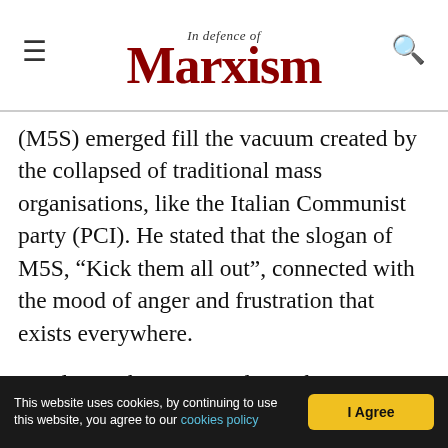In Defence of Marxism
(M5S) emerged fill the vacuum created by the collapsed of traditional mass organisations, like the Italian Communist party (PCI). He stated that the slogan of M5S, “Kick them all out”, connected with the mood of anger and frustration that exists everywhere.
He also spoke extensively on the situation in Africa. He began by drawing lessons from the Tunisian and Egyptian Revolutions, and spoke on the Algerian Revolution of 2019 that led to the fall of Abdelaziz Bouteflika. He also spoke on how the change in consciousness has led to the increase in the
This website uses cookies, by continuing to use this website, you agree to our cookies policy  I Agree